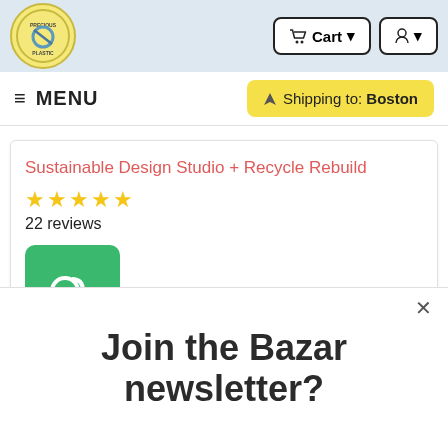Precious Plastic — Cart | User
≡ MENU    ✈ Shipping to: Boston
Sustainable Design Studio + Recycle Rebuild
★★★★★ 22 reviews
[Figure (logo): Recycle Rebuild logo: green rounded square with @ recycle rebuild text in white]
Join the Bazar newsletter?